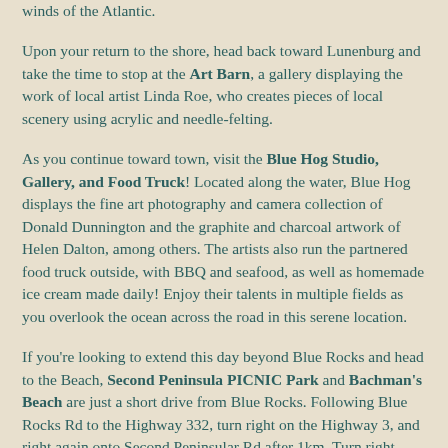winds of the Atlantic.
Upon your return to the shore, head back toward Lunenburg and take the time to stop at the Art Barn, a gallery displaying the work of local artist Linda Roe, who creates pieces of local scenery using acrylic and needle-felting.
As you continue toward town, visit the Blue Hog Studio, Gallery, and Food Truck! Located along the water, Blue Hog displays the fine art photography and camera collection of Donald Dunnington and the graphite and charcoal artwork of Helen Dalton, among others. The artists also run the partnered food truck outside, with BBQ and seafood, as well as homemade ice cream made daily! Enjoy their talents in multiple fields as you overlook the ocean across the road in this serene location.
If you're looking to extend this day beyond Blue Rocks and head to the Beach, Second Peninsula PICNIC Park and Bachman's Beach are just a short drive from Blue Rocks. Following Blue Rocks Rd to the Highway 332, turn right on the Highway 3, and right again onto Second Peninsular Rd after 1km. Turn right after 2.9km to stay on Second Peninsula Rd, and then make a left turn into the park at